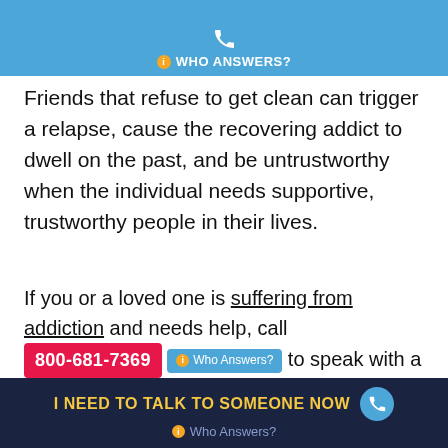WHO ANSWERS?
Friends that refuse to get clean can trigger a relapse, cause the recovering addict to dwell on the past, and be untrustworthy when the individual needs supportive, trustworthy people in their lives.
If you or a loved one is suffering from addiction and needs help, call 800-681-7369 Who Answers? to speak with a caring specialist that can assist you.
RELATED ARTICLES
Can't Control Your Drug Cravings? How Treatment Centers for Drugs Help You
I NEED TO TALK TO SOMEONE NOW  Who Answers?